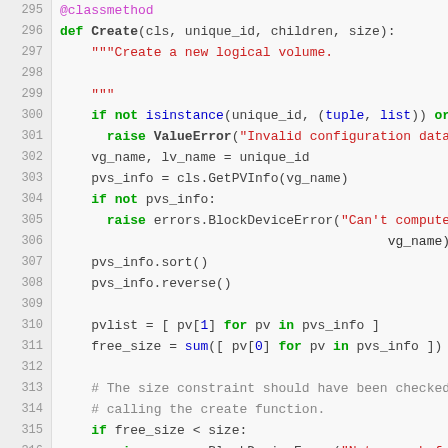[Figure (screenshot): Python source code snippet showing a class method 'Create' for creating a new logical volume, lines 295-320, with syntax highlighting on a light background.]